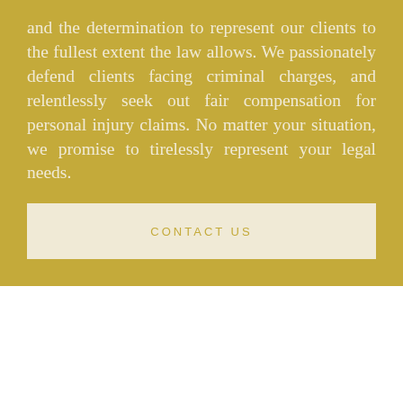and the determination to represent our clients to the fullest extent the law allows. We passionately defend clients facing criminal charges, and relentlessly seek out fair compensation for personal injury claims. No matter your situation, we promise to tirelessly represent your legal needs.
CONTACT US